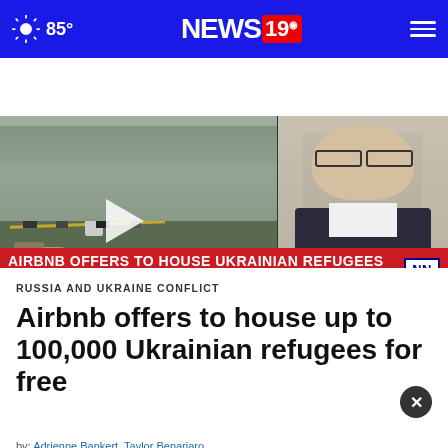85° NEWS 19
[Figure (screenshot): News broadcast video thumbnail showing a street scene with people and barriers on the left, and an anchor/reporter on the right. Breaking news banner reads 'AIRBNB OFFERS TO HOUSE UKRAINIAN REFUGEES FOR FREE'. Sub-ticker shows 'A PORT OF ENTRY | NN | MEXICO'S EFFORTS TO IDENTIFY HUMAN REMA | BORDER REPORT | NEWSNATION NOW']
RUSSIA AND UKRAINE CONFLICT
Airbnb offers to house up to 100,000 Ukrainian refugees for free
[Figure (other): Advertisement banner for TIRAMISU PAPERIE with SHOP NOW button]
by: Adrienne Bankert, Taylor Benariaro